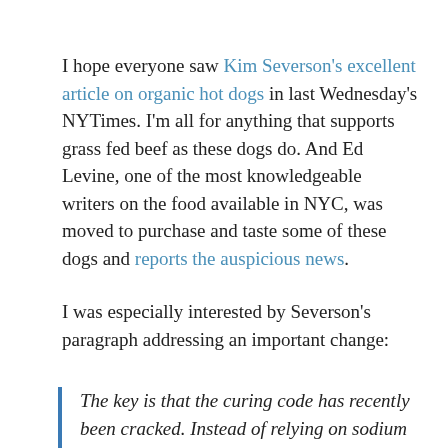I hope everyone saw Kim Severson's excellent article on organic hot dogs in last Wednesday's NYTimes. I'm all for anything that supports grass fed beef as these dogs do. And Ed Levine, one of the most knowledgeable writers on the food available in NYC, was moved to purchase and taste some of these dogs and reports the auspicious news.
I was especially interested by Severson's paragraph addressing an important change:
The key is that the curing code has recently been cracked. Instead of relying on sodium nitrates or the more common sodium nitrites for color, texture and